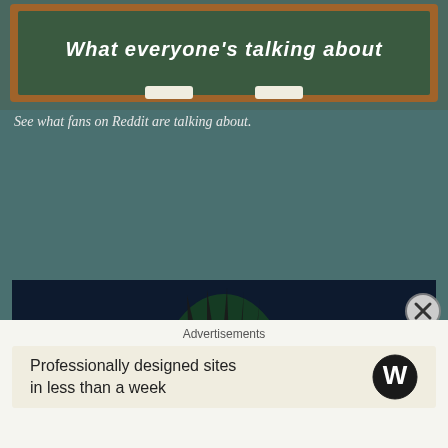[Figure (illustration): Chalkboard graphic with wooden frame and text 'What everyone's talking about', two chalk erasers at the bottom]
See what fans on Reddit are talking about.
[Figure (illustration): Seattle Seahawks HAWKS logo image with a hawk claw ripping through the letters, dark blue/green color scheme with yellow accents]
Check out the longtime fan community at Seahawks.net.
BLOGROLL
Advertisements
Professionally designed sites in less than a week